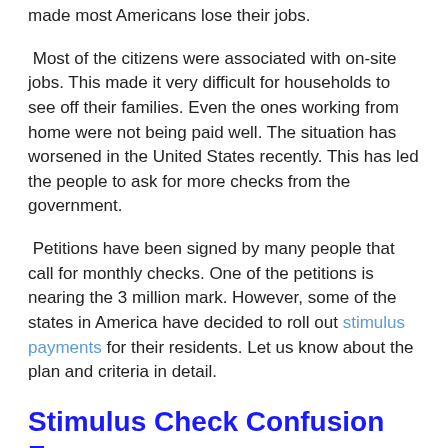made most Americans lose their jobs.
Most of the citizens were associated with on-site jobs. This made it very difficult for households to see off their families. Even the ones working from home were not being paid well. The situation has worsened in the United States recently. This has led the people to ask for more checks from the government.
Petitions have been signed by many people that call for monthly checks. One of the petitions is nearing the 3 million mark. However, some of the states in America have decided to roll out stimulus payments for their residents. Let us know about the plan and criteria in detail.
Stimulus Check Confusion For Social Security Beneficiaries